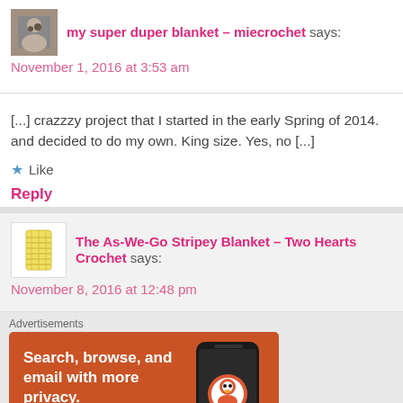my super duper blanket – miecrochet says:
November 1, 2016 at 3:53 am
[...] crazzzy project that I started in the early Spring of 2014. and decided to do my own. King size. Yes, no [...]
★ Like
Reply
The As-We-Go Stripey Blanket – Two Hearts Crochet says:
November 8, 2016 at 12:48 pm
Advertisements
[Figure (screenshot): DuckDuckGo advertisement banner with text 'Search, browse, and email with more privacy. All in One Free App' and a phone image with DuckDuckGo logo]